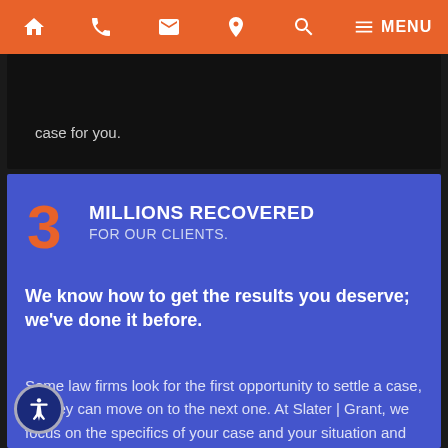Navigation bar with home, phone, email, location, search, and menu icons
case for you.
3 MILLIONS RECOVERED FOR OUR CLIENTS.
We know how to get the results you deserve; we've done it before.
Some law firms look for the first opportunity to settle a case, so they can move on to the next one. At Slater | Grant, we focus on the specifics of your case and your situation and advocate for a resolution that fairly values the damages you have suffered. We will not hesitate to try a case if that is the best